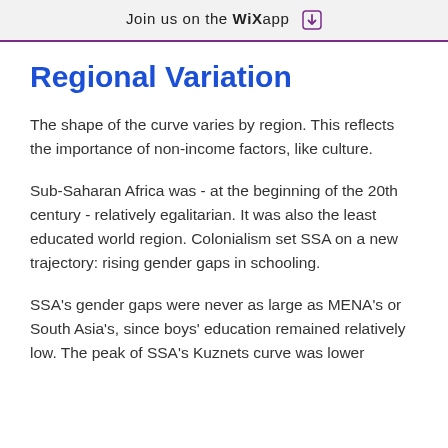Join us on the WiX app
Regional Variation
The shape of the curve varies by region. This reflects the importance of non-income factors, like culture.
Sub-Saharan Africa was - at the beginning of the 20th century - relatively egalitarian. It was also the least educated world region. Colonialism set SSA on a new trajectory: rising gender gaps in schooling.
SSA's gender gaps were never as large as MENA's or South Asia's, since boys' education remained relatively low. The peak of SSA's Kuznets curve was lower